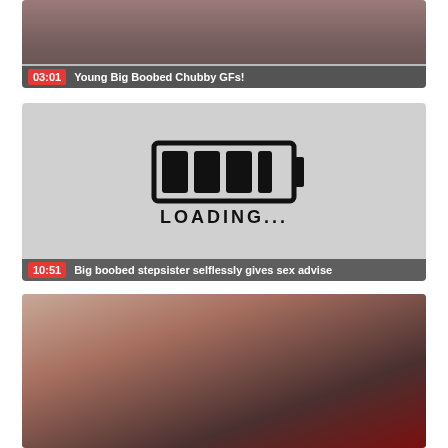[Figure (screenshot): Video thumbnail card 1 with duration 03:01 and title 'Young Big Boobed Chubby GFs!']
[Figure (screenshot): Video thumbnail card 2 showing loading screen with duration 10:51 and title 'Big boobed stepsister selflessly gives sex advise']
[Figure (screenshot): Video thumbnail card 3 showing two people, partially visible]